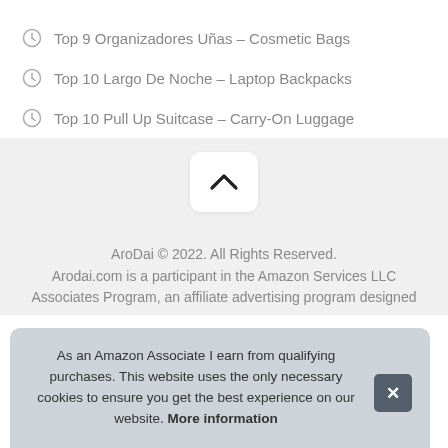Top 9 Organizadores Uñas – Cosmetic Bags
Top 10 Largo De Noche – Laptop Backpacks
Top 10 Pull Up Suitcase – Carry-On Luggage
[Figure (other): Scroll-to-top button with upward chevron arrow icon]
AroDai © 2022. All Rights Reserved. Arodai.com is a participant in the Amazon Services LLC Associates Program, an affiliate advertising program designed
As an Amazon Associate I earn from qualifying purchases. This website uses the only necessary cookies to ensure you get the best experience on our website. More information